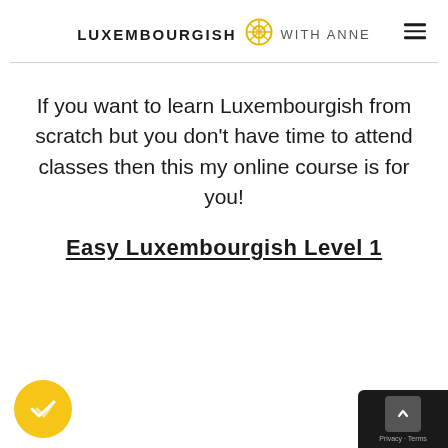LUXEMBOURGISH WITH ANNE
If you want to learn Luxembourgish from scratch but you don't have time to attend classes then this my online course is for you!
Easy Luxembourgish Level 1